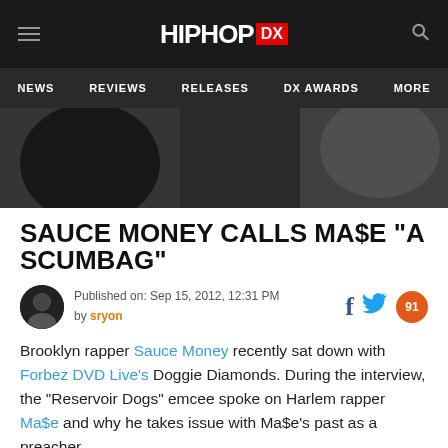HIPHOP DX
NEWS  REVIEWS  RELEASES  DX AWARDS  MORE
[Figure (photo): Dark hero image showing a person in dark clothing]
SAUCE MONEY CALLS MA$E "A SCUMBAG"
Published on: Sep 15, 2012, 12:31 PM by sryon
Brooklyn rapper Sauce Money recently sat down with Forbez DVD Live's Doggie Diamonds. During the interview, the “Reservoir Dogs” emcee spoke on Harlem rapper Ma$e and why he takes issue with Ma$e’s past as a preacher.
[Figure (other): Samsung Galaxy Buds2 Pro advertisement]